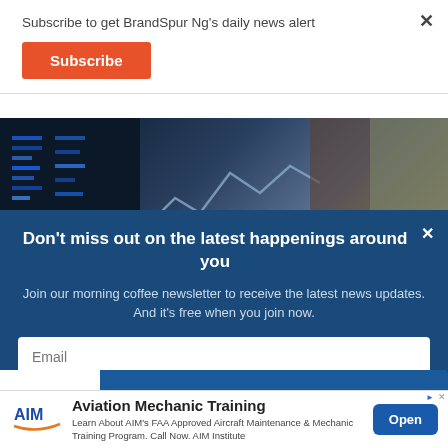Subscribe to get BrandSpur Ng's daily news alert
Subscribe
[Figure (photo): Dark background photo showing blurred blue lights and figures, likely financial or technology themed]
Don't miss out on the latest happenings around you
Join our morning coffee newsletter to receive the latest news updates. And it's free when you join now.
Email
Aviation Mechanic Training
Learn About AIM's FAA Approved Aircraft Maintenance & Mechanic Training Program. Call Now. AIM Institute
Open